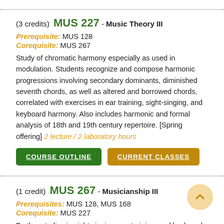(3 credits) MUS 227 - Music Theory III
Prerequisite: MUS 128
Corequisite: MUS 267
Study of chromatic harmony especially as used in modulation. Students recognize and compose harmonic progressions involving secondary dominants, diminished seventh chords, as well as altered and borrowed chords, correlated with exercises in ear training, sight-singing, and keyboard harmony. Also includes harmonic and formal analysis of 18th and 19th century repertoire. [Spring offering] 2 lecture / 2 laboratory hours
COURSE OUTLINE
CURRENT CLASSES
(1 credit) MUS 267 - Musicianship III
Prerequisites: MUS 128, MUS 168
Corequisite: MUS 227
Further studies in sight singing, ear training, and keyboard